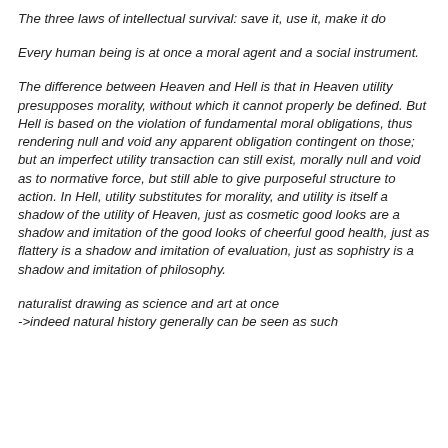The three laws of intellectual survival: save it, use it, make it do
Every human being is at once a moral agent and a social instrument.
The difference between Heaven and Hell is that in Heaven utility presupposes morality, without which it cannot properly be defined. But Hell is based on the violation of fundamental moral obligations, thus rendering null and void any apparent obligation contingent on those; but an imperfect utility transaction can still exist, morally null and void as to normative force, but still able to give purposeful structure to action. In Hell, utility substitutes for morality, and utility is itself a shadow of the utility of Heaven, just as cosmetic good looks are a shadow and imitation of the good looks of cheerful good health, just as flattery is a shadow and imitation of evaluation, just as sophistry is a shadow and imitation of philosophy.
naturalist drawing as science and art at once
->indeed natural history generally can be seen as such